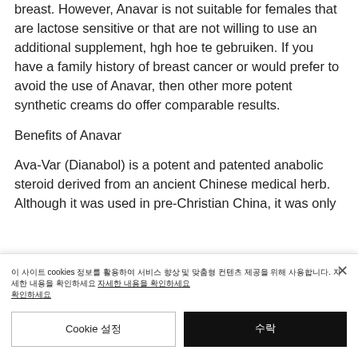breast. However, Anavar is not suitable for females that are lactose sensitive or that are not willing to use an additional supplement, hgh hoe te gebruiken. If you have a family history of breast cancer or would prefer to avoid the use of Anavar, then other more potent synthetic creams do offer comparable results.
Benefits of Anavar
Ava-Var (Dianabol) is a potent and patented anabolic steroid derived from an ancient Chinese medical herb. Although it was used in pre-Christian China, it was only
이 사이트 cookies 정보를 활용하여 서비스 향상 및 맞춤형 컨텐츠 제공을 위해 사용합니다. 자세한 내용을 확인하세요
Cookie 설정
수락